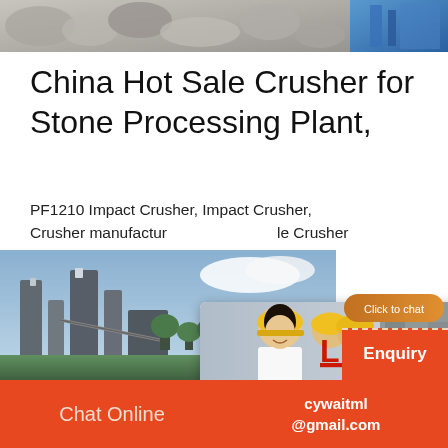[Figure (photo): Top strip image showing crushed stone/rocks on left and blue machinery on right]
China Hot Sale Crusher for Stone Processing Plant,
PF1210 Impact Crusher, Impact Crusher, Crusher manufacturer ... le Crusher for Stone Processing Plant,
[Figure (screenshot): Live Chat popup overlay with workers in hard hats background, woman smiling, LIVE CHAT heading in red, 'Click for a Free Consultation' text, Chat now (red) and Chat later (dark) buttons]
[Figure (photo): Bottom left industrial plant/factory image with towers and green trees]
[Figure (photo): Right side panel showing woman with headset, hour online orange label, Click to chat button, Enquiry red button]
Chat Online   cywaitml @gmail.com